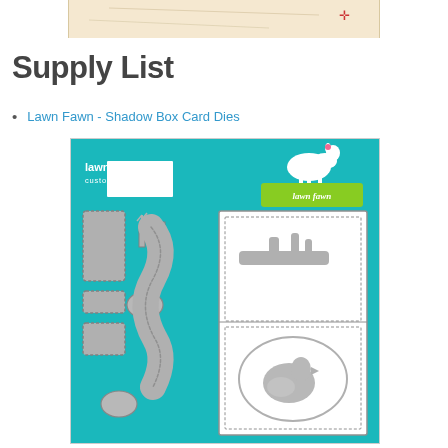[Figure (photo): Partial top image of a craft card project, beige/tan background with decorative elements]
Supply List
Lawn Fawn - Shadow Box Card Dies
[Figure (photo): Product packaging image for Lawn Fawn Shadow Box Card Dies - Lawn Cuts custom craft dies, teal packaging with gray die cut shapes showing shadow box card components including branch, bird, and oval frame pieces]